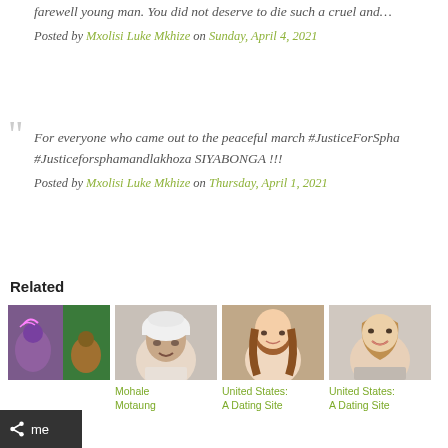farewell young man. You did not deserve to die such a cruel and…
Posted by Mxolisi Luke Mkhize on Sunday, April 4, 2021
For everyone who came out to the peaceful march #JusticeForSpha #Justiceforsphamandlakhoza SIYABONGA !!!
Posted by Mxolisi Luke Mkhize on Thursday, April 1, 2021
Related
[Figure (photo): Four thumbnail images: illustration/game art, man in white hat, woman with long hair, woman smiling]
Mohale Motaung
United States: A Dating Site
United States: A Dating Site